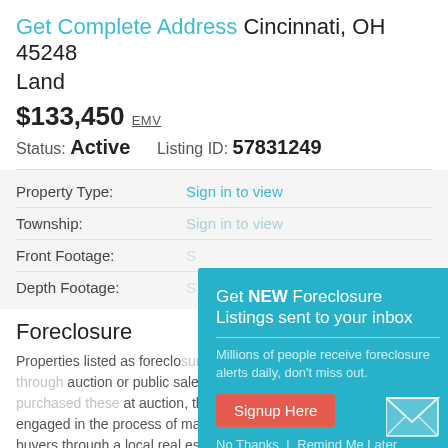Get Complete Address Cincinnati, OH 45248
Land
$133,450 EMV
Status: Active    Listing ID: 57831249
Property Type: Sign in to view
Township: Sign in to view
Front Footage: Sign in to view
Depth Footage: Sign in to view
Foreclosure
Properties listed as foreclo... auction or public sale. Beca... at auction, the lender is now the owner and is engaged in the process of marketing and selling them to potential buyers through a local real estate agent or auction house.
[Figure (infographic): Popup overlay with teal background promoting foreclosure listing email alerts. Contains heading 'Get NEW Foreclosure Listings sent to your inbox', subtext 'Millions of people receive foreclosure alerts daily, don't miss out.', a red 'Signup Here' button, an envelope icon, and 'No Thanks | Remind Me Later' links.]